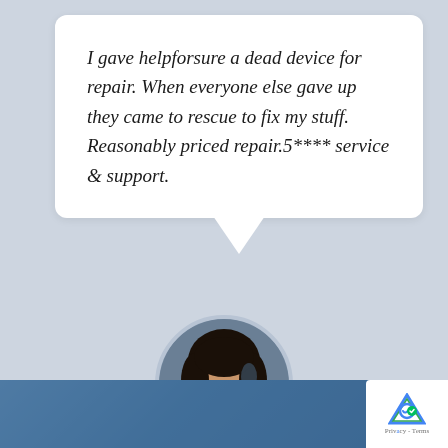I gave helpforsure a dead device for repair. When everyone else gave up they came to rescue to fix my stuff. Reasonably priced repair.5**** service & support.
[Figure (photo): Circular profile photo of a woman named Abha, smiling, with dark hair]
Abha
AbhaOne Plus Customer Vijay Nagar - Bangalore